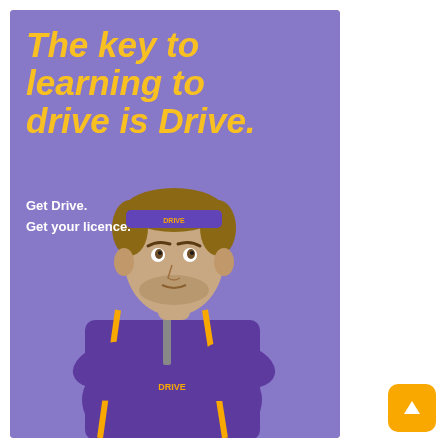[Figure (illustration): Advertisement banner with purple background showing a man in a purple and gold tracksuit with a purple headband labeled DRIVE, arms crossed, looking upward. Text overlay reads 'The key to learning to drive is Drive.' with tagline 'Get Drive. Get your licence.' An orange up-arrow button appears bottom right.]
The key to learning to drive is Drive.
Get Drive.
Get your licence.